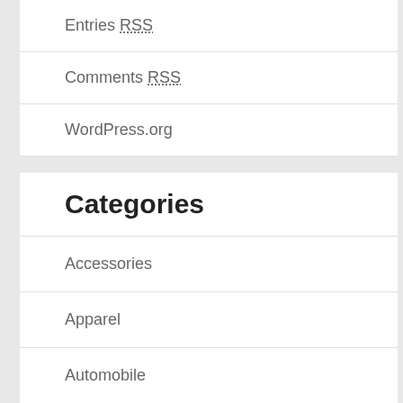Entries RSS
Comments RSS
WordPress.org
Categories
Accessories
Apparel
Automobile
Beauty
Books
Corona